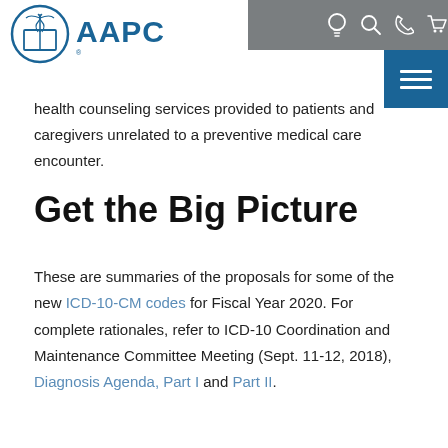AAPC logo and navigation bar
health counseling services provided to patients and caregivers unrelated to a preventive medical care encounter.
Get the Big Picture
These are summaries of the proposals for some of the new ICD-10-CM codes for Fiscal Year 2020. For complete rationales, refer to ICD-10 Coordination and Maintenance Committee Meeting (Sept. 11-12, 2018), Diagnosis Agenda, Part I and Part II.